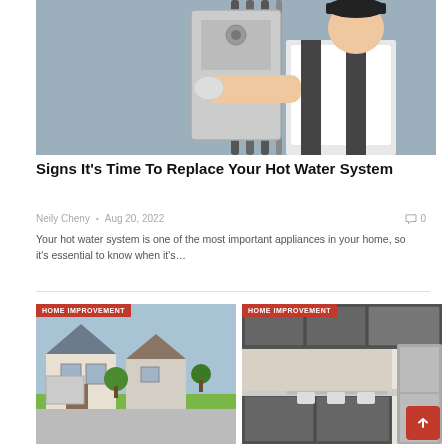[Figure (photo): A technician/plumber in a white shirt and dark overalls working on pipes and a boiler/water heater system mounted on a wall]
Signs It's Time To Replace Your Hot Water System
Neily Cheny  •  Aug 20, 2022  🗨 0
Your hot water system is one of the most important appliances in your home, so it's essential to know when it's...
[Figure (photo): HOME IMPROVEMENT badge over a photo of suburban houses on a street with green lawns]
[Figure (photo): HOME IMPROVEMENT badge over a photo of a modern kitchen interior with dark cabinets and a kitchen island]